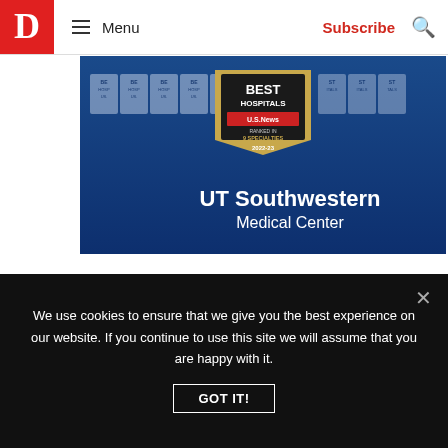D  Menu  Subscribe
[Figure (photo): UT Southwestern Medical Center advertisement showing U.S. News Best Hospitals badge ranked in 9 specialties 2022-23, with multiple award plaques on a blue background]
Comments  Community  Privacy Policy  1  Login
We use cookies to ensure that we give you the best experience on our website. If you continue to use this site we will assume that you are happy with it.
GOT IT!